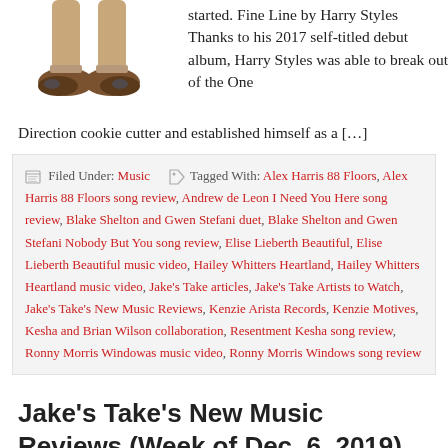[Figure (illustration): Cartoon illustration of legs/feet walking, wearing tan pants and brown shoes]
started. Fine Line by Harry Styles  Thanks to his 2017 self-titled debut album, Harry Styles was able to break out of the One Direction cookie cutter and established himself as a […]
Filed Under: Music   Tagged With: Alex Harris 88 Floors, Alex Harris 88 Floors song review, Andrew de Leon I Need You Here song review, Blake Shelton and Gwen Stefani duet, Blake Shelton and Gwen Stefani Nobody But You song review, Elise Lieberth Beautiful, Elise Lieberth Beautiful music video, Hailey Whitters Heartland, Hailey Whitters Heartland music video, Jake's Take articles, Jake's Take Artists to Watch, Jake's Take's New Music Reviews, Kenzie Arista Records, Kenzie Motives, Kesha and Brian Wilson collaboration, Resentment Kesha song review, Ronny Morris Windowas music video, Ronny Morris Windows song review
Jake's Take's New Music Reviews (Week of Dec. 6, 2019)